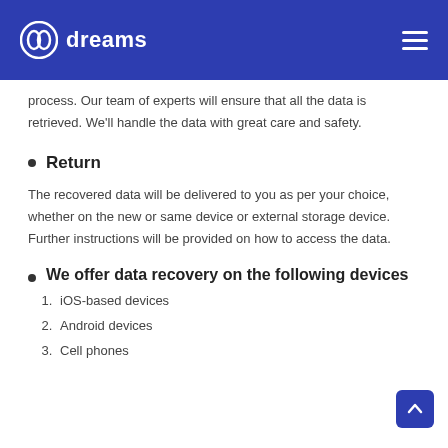pc dreams
process. Our team of experts will ensure that all the data is retrieved. We'll handle the data with great care and safety.
Return
The recovered data will be delivered to you as per your choice, whether on the new or same device or external storage device. Further instructions will be provided on how to access the data.
We offer data recovery on the following devices
iOS-based devices
Android devices
Cell phones